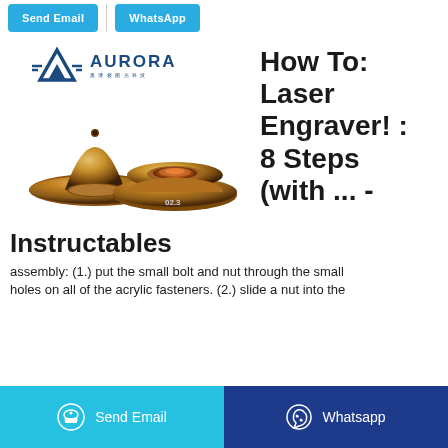Send Email | WhatsApp
[Figure (logo): Aurora laser technology company logo with mountain/triangle icon and Chinese characters]
[Figure (photo): Two copper/gold colored laser cutting nozzle components - one cone-shaped and one flat disc-shaped with central hole, labeled 02.3]
How To: Laser Engraver! : 8 Steps (with ... -
Instructables
assembly: (1.) put the small bolt and nut through the small holes on all of the acrylic fasteners. (2.) slide a nut into the
Send Email   Whatsapp